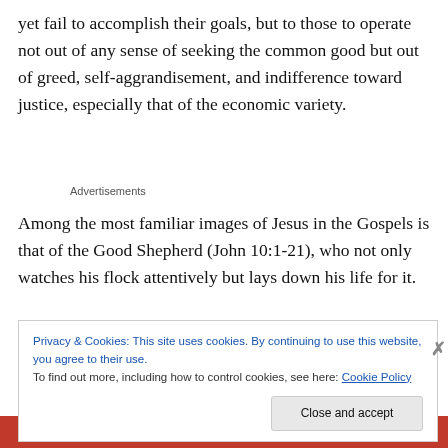yet fail to accomplish their goals, but to those to operate not out of any sense of seeking the common good but out of greed, self-aggrandisement, and indifference toward justice, especially that of the economic variety.
Advertisements
Among the most familiar images of Jesus in the Gospels is that of the Good Shepherd (John 10:1-21), who not only watches his flock attentively but lays down his life for it.
Privacy & Cookies: This site uses cookies. By continuing to use this website, you agree to their use.
To find out more, including how to control cookies, see here: Cookie Policy
Close and accept
DuckDuckGo.